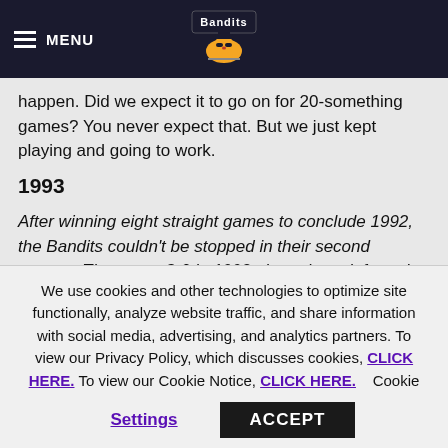MENU | Buffalo Bandits logo
happen. Did we expect it to go on for 20-something games? You never expect that. But we just kept playing and going to work.
1993
After winning eight straight games to conclude 1992, the Bandits couldn't be stopped in their second season. They went 8-0 in 1993, the only undefeated season in the history of the NLL. Only two teams came within a point of beating them – Baltimore and Philadelphia.
With a championship under their belt already, fans came out in droves to watch the Bandits at The Aud.
We use cookies and other technologies to optimize site functionally, analyze website traffic, and share information with social media, advertising, and analytics partners. To view our Privacy Policy, which discusses cookies, CLICK HERE. To view our Cookie Notice, CLICK HERE. Cookie Settings ACCEPT